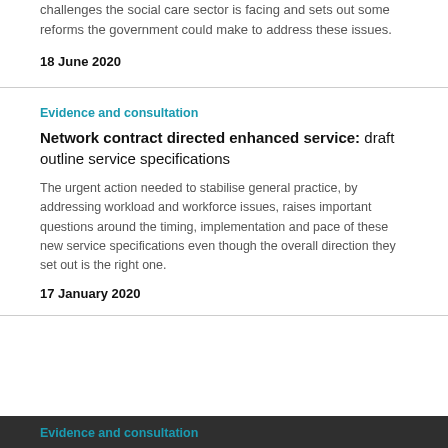challenges the social care sector is facing and sets out some reforms the government could make to address these issues.
18 June 2020
Evidence and consultation
Network contract directed enhanced service: draft outline service specifications
The urgent action needed to stabilise general practice, by addressing workload and workforce issues, raises important questions around the timing, implementation and pace of these new service specifications even though the overall direction they set out is the right one.
17 January 2020
Evidence and consultation